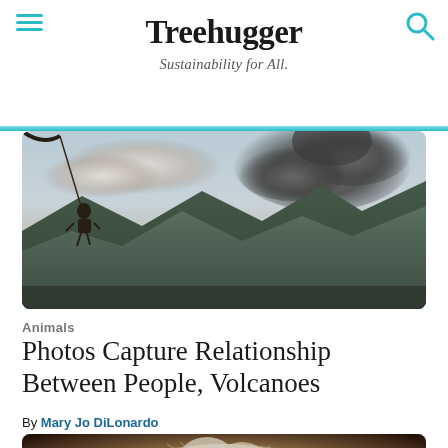Treehugger — Sustainability for All.
[Figure (photo): Person on a rope swing over a valley with a volcano erupting in the background, dramatic clouds]
Animals
Photos Capture Relationship Between People, Volcanoes
By Mary Jo DiLonardo
[Figure (photo): Close-up photo of a fluffy white/cream cat lying down, blurred background]